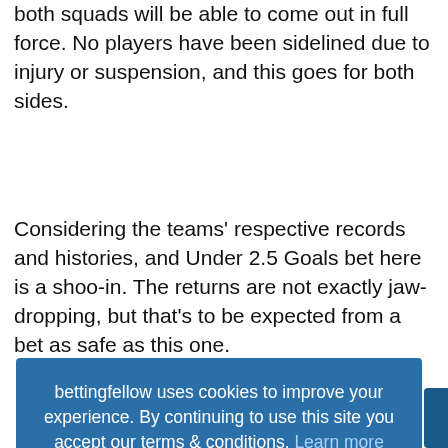both squads will be able to come out in full force. No players have been sidelined due to injury or suspension, and this goes for both sides.
Considering the teams' respective records and histories, and Under 2.5 Goals bet here is a shoo-in. The returns are not exactly jaw-dropping, but that's to be expected from a bet as safe as this one.
[Figure (screenshot): Cookie consent overlay on a blue background, with text: 'bettingfellow uses cookies to improve your experience. By continuing to use this site you accept our terms & conditions. Learn more' and a 'Got it' button.]
Match Info: